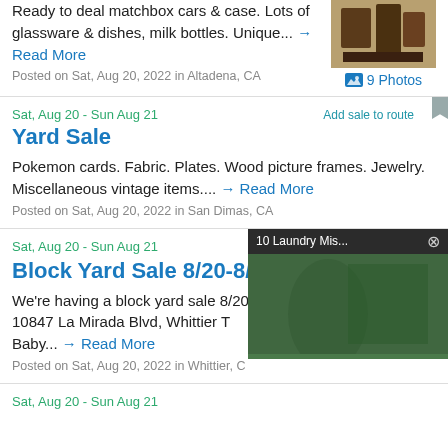Ready to deal matchbox cars & case. Lots of glassware & dishes, milk bottles. Unique... → Read More
Posted on Sat, Aug 20, 2022 in Altadena, CA
Sat, Aug 20 - Sun Aug 21
Add sale to route
Yard Sale
Pokemon cards. Fabric. Plates. Wood picture frames. Jewelry. Miscellaneous vintage items.... → Read More
Posted on Sat, Aug 20, 2022 in San Dimas, CA
Sat, Aug 20 - Sun Aug 21
Add sale to route
Block Yard Sale 8/20-8/21
We're having a block yard sale 8/20-8/21 10847 La Mirada Blvd, Whittier T... Baby... → Read More
Posted on Sat, Aug 20, 2022 in Whittier, C...
[Figure (screenshot): Video overlay showing '10 Laundry Mis...' with a woman in a garden setting and a play button]
Sat, Aug 20 - Sun Aug 21